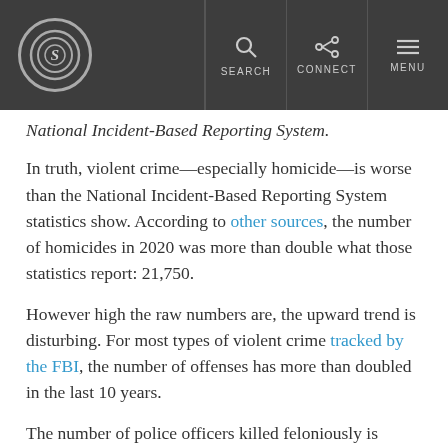S [logo] SEARCH CONNECT MENU
National Incident-Based Reporting System.
In truth, violent crime—especially homicide—is worse than the National Incident-Based Reporting System statistics show. According to other sources, the number of homicides in 2020 was more than double what those statistics report: 21,750.
However high the raw numbers are, the upward trend is disturbing. For most types of violent crime tracked by the FBI, the number of offenses has more than doubled in the last 10 years.
The number of police officers killed feloniously is rising too. In 2021, 73 were murdered, a 20-year